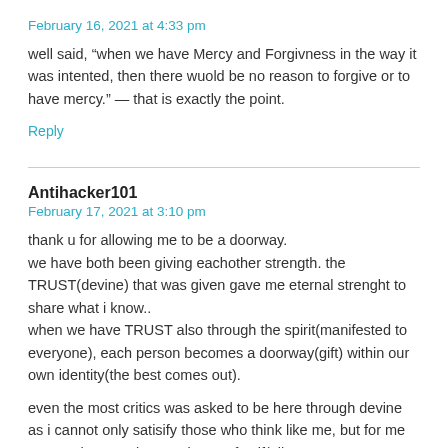February 16, 2021 at 4:33 pm
well said, “when we have Mercy and Forgivness in the way it was intented, then there wuold be no reason to forgive or to have mercy.” — that is exactly the point.
Reply
Antihacker101
February 17, 2021 at 3:10 pm
thank u for allowing me to be a doorway.
we have both been giving eachother strength. the TRUST(devine) that was given gave me eternal strenght to share what i know..
when we have TRUST also through the spirit(manifested to everyone), each person becomes a doorway(gift) within our own identity(the best comes out).
even the most critics was asked to be here through devine as i cannot only satisify those who think like me, but for me to trust the most inner askpect of self(allows me to connect to